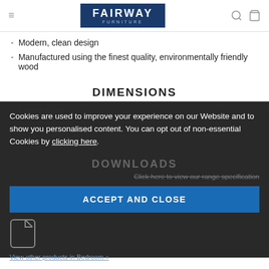FAIRWAY FURNITURE
Modern, clean design
Manufactured using the finest quality, environmentally friendly wood
DIMENSIONS
Height 61cm
Cookies are used to improve your experience on our Website and to show you personalised content. You can opt out of non-essential Cookies by clicking here.
ACCEPT AND CLOSE
DOWNLOADS
Click here to view our range specification
View other products in Bedroom »